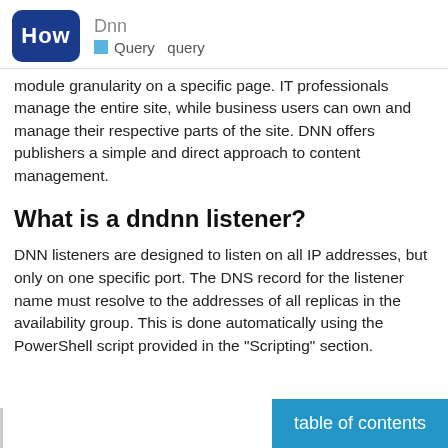Dnn | Query query
module granularity on a specific page. IT professionals manage the entire site, while business users can own and manage their respective parts of the site. DNN offers publishers a simple and direct approach to content management.
What is a dndnn listener?
DNN listeners are designed to listen on all IP addresses, but only on one specific port. The DNS record for the listener name must resolve to the addresses of all replicas in the availability group. This is done automatically using the PowerShell script provided in the "Scripting" section.